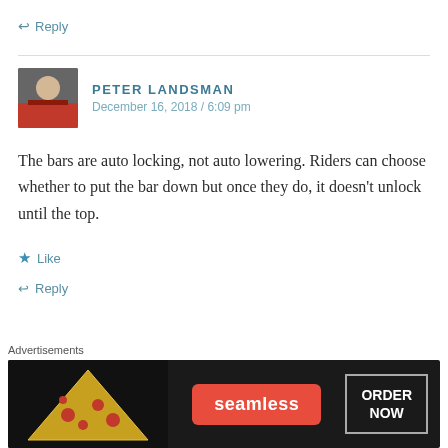↩ Reply
PETER LANDSMAN
December 16, 2018 / 6:09 pm
The bars are auto locking, not auto lowering. Riders can choose whether to put the bar down but once they do, it doesn't unlock until the top.
★ Like
↩ Reply
RYAN GARDNER
[Figure (screenshot): Seamless food delivery advertisement banner with pizza image, Seamless logo in red, and ORDER NOW button]
Advertisements